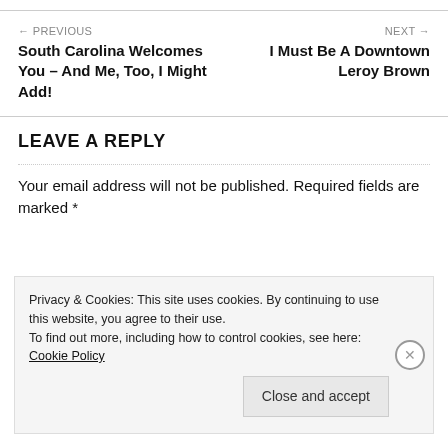← PREVIOUS
South Carolina Welcomes You – And Me, Too, I Might Add!
NEXT →
I Must Be A Downtown Leroy Brown
LEAVE A REPLY
Your email address will not be published. Required fields are marked *
Privacy & Cookies: This site uses cookies. By continuing to use this website, you agree to their use.
To find out more, including how to control cookies, see here: Cookie Policy
Close and accept